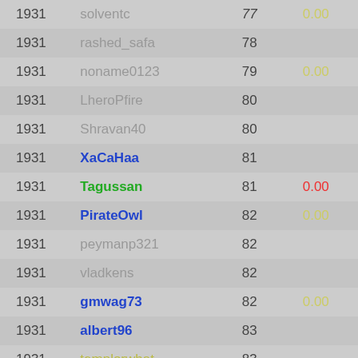| Rank | Name | Score | Value |
| --- | --- | --- | --- |
| 1931 | solventc | 77 | 0.00 |
| 1931 | rashed_safa | 78 |  |
| 1931 | noname0123 | 79 | 0.00 |
| 1931 | LheroPfire | 80 |  |
| 1931 | Shravan40 | 80 |  |
| 1931 | XaCaHaa | 81 |  |
| 1931 | Tagussan | 81 | 0.00 |
| 1931 | PirateOwl | 82 | 0.00 |
| 1931 | peymanp321 | 82 |  |
| 1931 | vladkens | 82 |  |
| 1931 | gmwag73 | 82 | 0.00 |
| 1931 | albert96 | 83 |  |
| 1931 | templorwhat | 83 |  |
| 1931 | dcash2 | 83 |  |
| 1931 | okaoka | 83 | 0.00 |